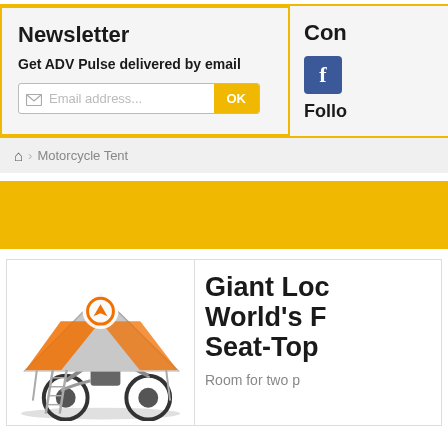Newsletter
Get ADV Pulse delivered by email
Email address...  OK
Con
Follo
🏠 > Motorcycle Tent
[Figure (other): Yellow banner/advertisement bar]
[Figure (photo): Motorcycle with a rooftop tent mounted over it, ladder visible, gray and orange tent with logo, dirt bike style motorcycle]
Giant Loc World's F Seat-Top
Room for two p